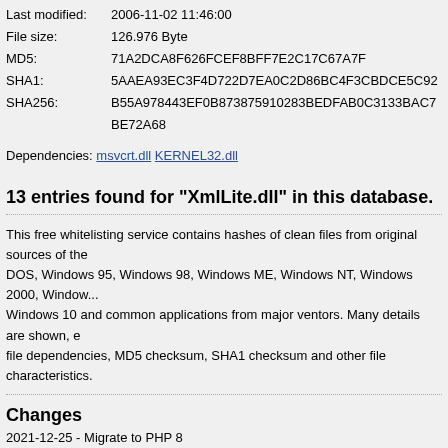Last modified: 2006-11-02 11:46:00
File size: 126.976 Byte
MD5: 71A2DCA8F626FCEF8BFF7E2C17C67A7F
SHA1: 5AAEA93EC3F4D722D7EA0C2D86BC4F3CBDCE5C92
SHA256: B55A978443EF0B873875910283BEDFAB0C3133BAC7BE72A68
Dependencies: msvcrt.dll KERNEL32.dll
13 entries found for "XmlLite.dll" in this database.
This free whitelisting service contains hashes of clean files from original sources of the DOS, Windows 95, Windows 98, Windows ME, Windows NT, Windows 2000, Windows 10 and common applications from major ventors. Many details are shown, e file dependencies, MD5 checksum, SHA1 checksum and other file characteristics.
Changes
2021-12-25 - Migrate to PHP 8